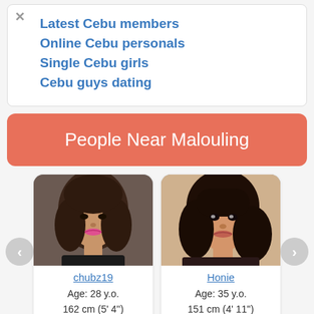Latest Cebu members
Online Cebu personals
Single Cebu girls
Cebu guys dating
People Near Malouling
[Figure (photo): Profile photo of chubz19, a young woman with long dark hair and pink lipstick]
chubz19
Age: 28 y.o.
162 cm (5' 4'')
49 kg (109 lbs)
[Figure (photo): Profile photo of Honie, a young woman with dark hair taking a selfie]
Honie
Age: 35 y.o.
151 cm (4' 11'')
51 kg (113 lbs)